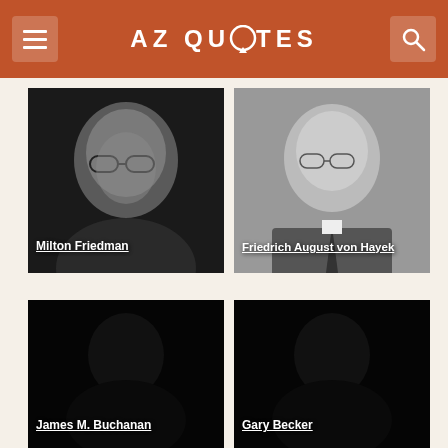AZ QUOTES
[Figure (photo): Black and white portrait photo of Milton Friedman, elderly man with glasses]
Milton Friedman
[Figure (photo): Black and white portrait photo of Friedrich August von Hayek, man in suit with glasses]
Friedrich August von Hayek
[Figure (photo): Dark/black portrait photo of James M. Buchanan]
James M. Buchanan
[Figure (photo): Dark/black portrait photo of Gary Becker]
Gary Becker